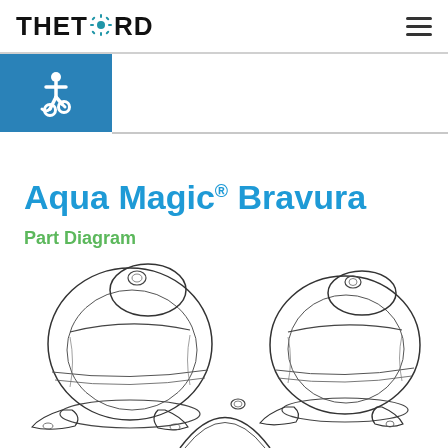THETFORD
Aqua Magic® Bravura
Part Diagram
[Figure (engineering-diagram): Three line-art engineering diagrams of the Aqua Magic Bravura toilet shown from different angles — two full views side by side and a partial third view below. The toilet has a distinctive round/spherical bowl design with a foot pedal flush mechanism.]